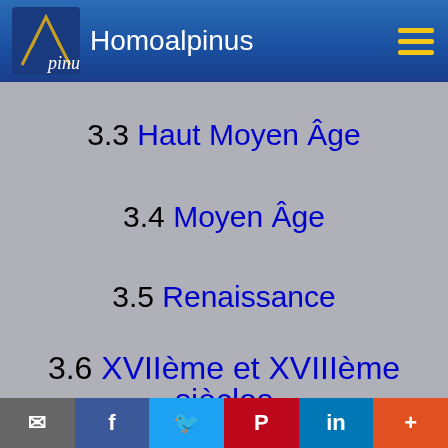Homoalpinus
3.3 Haut Moyen Âge
3.4 Moyen Âge
3.5 Renaissance
3.6 XVIIème et XVIIIème siècles
3.7 XIXème siècle
Email | Facebook | Twitter | Pinterest | LinkedIn | More